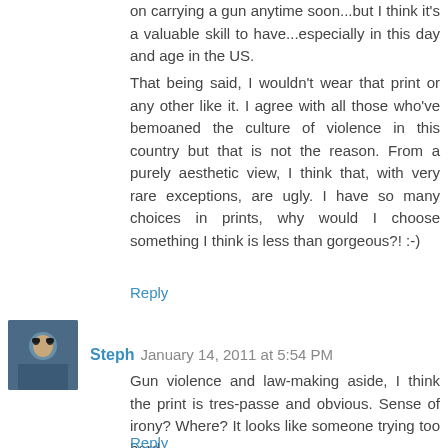on carrying a gun anytime soon...but I think it's a valuable skill to have...especially in this day and age in the US.
That being said, I wouldn't wear that print or any other like it. I agree with all those who've bemoaned the culture of violence in this country but that is not the reason. From a purely aesthetic view, I think that, with very rare exceptions, are ugly. I have so many choices in prints, why would I choose something I think is less than gorgeous?! :-)
Reply
Steph January 14, 2011 at 5:54 PM
Gun violence and law-making aside, I think the print is tres-passe and obvious. Sense of irony? Where? It looks like someone trying too hard.
Reply
sjane January 14, 2011 at 6:31 PM
Imagine wearing that to a party where you meet someone